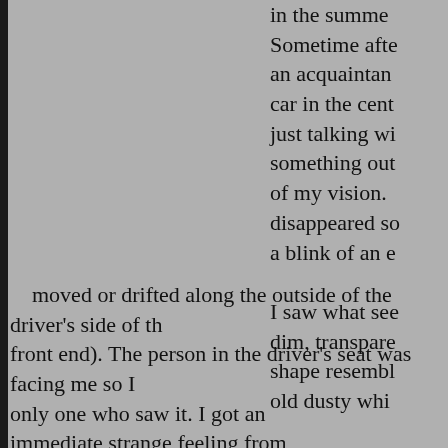in the summer. Sometime after an acquaintance car in the cent just talking w something out of my vision. disappeared s a blink of an e
I saw what se dim, transpare shape resembl old dusty whi moved or drifted along the outside of the driver's side of th front end). The person in the driver's seat was facing me so I only one who saw it. I got an immediate strange feeling from it, though I wasn't entirely sure if it was a ghost or just a temporary optical illusion... It certainly felt like I had just seen